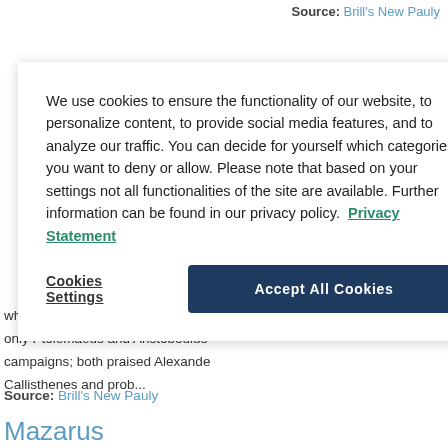Source: Brill's New Pauly
We use cookies to ensure the functionality of our website, to personalize content, to provide social media features, and to analyze our traffic. You can decide for yourself which categories you want to deny or allow. Please note that based on your settings not all functionalities of the site are available. Further information can be found in our privacy policy. Privacy Statement
Cookies Settings
Accept All Cookies
only Ptolemaeus and Aristoboulus campaigns; both praised Alexander Callisthenes and prob...
Source: Brill's New Pauly
Mazarus